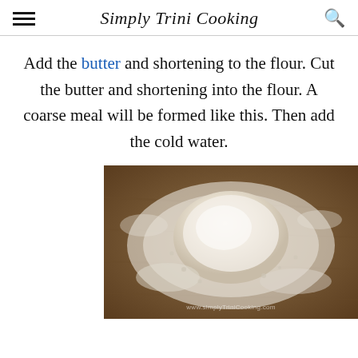Simply Trini Cooking
Add the butter and shortening to the flour. Cut the butter and shortening into the flour. A coarse meal will be formed like this. Then add the cold water.
[Figure (photo): A close-up photo of flour mixture on a wooden surface, showing a coarse meal texture with a mound of flour in the center, with a watermark reading www.simplyTriniCooking.com]